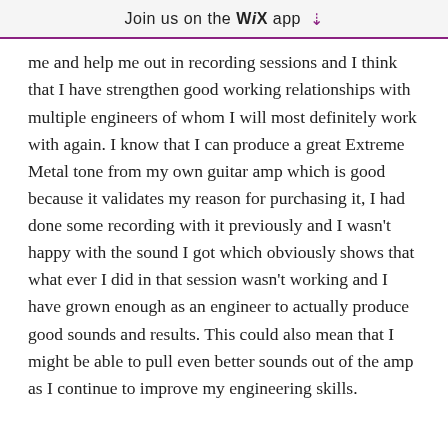Join us on the WiX app ↓
me and help me out in recording sessions and I think that I have strengthen good working relationships with multiple engineers of whom I will most definitely work with again. I know that I can produce a great Extreme Metal tone from my own guitar amp which is good because it validates my reason for purchasing it, I had done some recording with it previously and I wasn't happy with the sound I got which obviously shows that what ever I did in that session wasn't working and I have grown enough as an engineer to actually produce good sounds and results. This could also mean that I might be able to pull even better sounds out of the amp as I continue to improve my engineering skills.